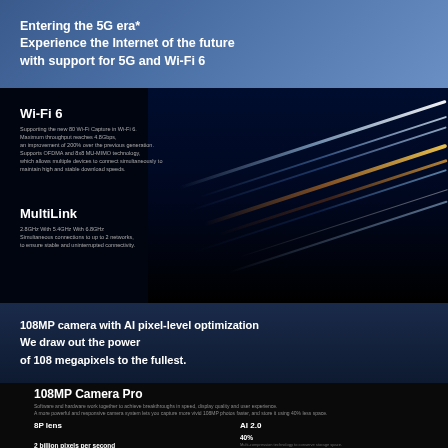Entering the 5G era*
Experience the Internet of the future with support for 5G and Wi-Fi 6
Wi-Fi 6
Supporting the new 80 Wi-Fi Capture in Wi-Fi 6.
Maximum throughput reaches 4.8Gbps,
an improvement of 200% over the previous generation.
Supports OFDMA and 8x8 MU-MIMO technology,
which allows multiple devices to connect simultaneously to
maintain high and stable download speeds.
MultiLink
2.8GHz With 5.4GHz With 6.8GHz
Simultaneous connections to up to 2 networks,
to ensure stable and uninterrupted connectivity.
108MP camera with AI pixel-level optimization
We draw out the power
of 108 megapixels to the fullest.
108MP Camera Pro
Software and hardware work together to achieve breakthroughs in speed, display quality and user experience.
A more powerful and responsive camera system lets you capture more vivid 108MP photos faster, and store it using 40% less space.
8P lens
First in the industryMarvelite enhance the light-gathering ability, fully unlocking the potential of the 108MP camera.
AI 2.0
Comprehensive pixel-level optimization, contributing to improved pictures.
2 billion pixels per second
Qualcomm Spectra™ 480 ISP allows you to take pictures fast.
40%
Multi-compression technology to conserve storage space.